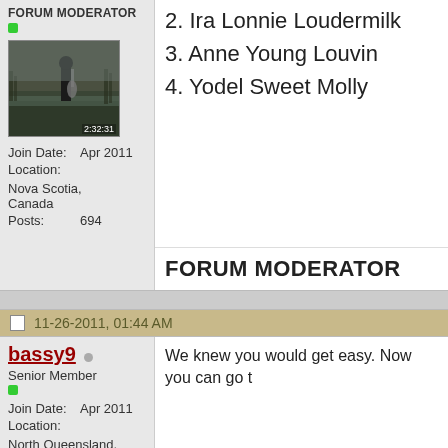FORUM MODERATOR
[Figure (photo): Avatar photo of a person fishing by a lake, dark greenish tones, with timestamp 2:32:31]
Join Date: Apr 2011
Location: Nova Scotia, Canada
Posts: 694
2. Ira Lonnie Loudermilk
3. Anne Young Louvin
4. Yodel Sweet Molly
FORUM MODERATOR
11-26-2011, 01:44 AM
bassy9
Senior Member
Join Date: Apr 2011
Location: North Queensland, Australia
Posts: 337
We knew you would get easy. Now you can go t